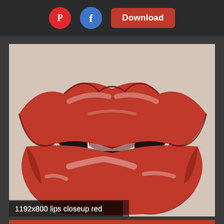Pinterest | Facebook | Download
[Figure (photo): Close-up photograph of lips with glossy red lipstick, slightly parted showing white teeth, on pale skin background. Caption reads: 1192x800 lips closeup red]
1192x800 lips closeup red